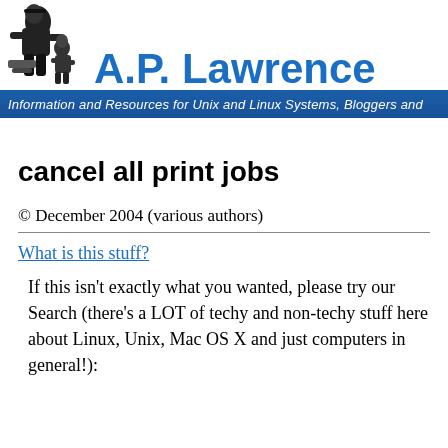[Figure (logo): A.P. Lawrence website logo with illustration of a person working and the text A.P. Lawrence in blue]
Information and Resources for Unix and Linux Systems, Bloggers and
cancel all print jobs
© December 2004 (various authors)
What is this stuff?
If this isn't exactly what you wanted, please try our Search (there's a LOT of techy and non-techy stuff here about Linux, Unix, Mac OS X and just computers in general!):